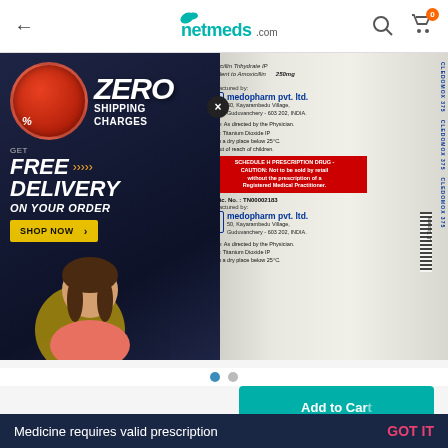netmeds.com
[Figure (screenshot): Netmeds.com pharmacy app screenshot showing a product page for Amoxycillin Trihydrate IP 250mg (Cledomox) with a promotional overlay offering zero shipping charges and free delivery, featuring a person image. The blister pack label shows manufacturer medopharm pvt. ltd., 50 Kayarambedu Village, Guduvanchery - 603 202, INDIA. Schedule H Prescription Drug warning. Mfg. Lic. No. TN00002183.]
Medicine requires valid prescription
GOT IT